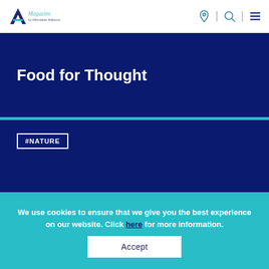A Magazine by Affordable Mallorca — header with logo and navigation icons
Food for Thought
#NATURE
We use cookies to ensure that we give you the best experience on our website. Click here for more information.
Accept